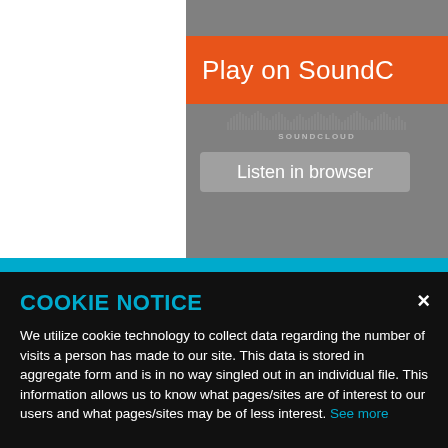[Figure (screenshot): SoundCloud embedded player widget showing 'Play on SoundC' orange button and 'Listen in browser' gray button on a gray background]
COOKIE NOTICE
We utilize cookie technology to collect data regarding the number of visits a person has made to our site. This data is stored in aggregate form and is in no way singled out in an individual file. This information allows us to know what pages/sites are of interest to our users and what pages/sites may be of less interest. See more